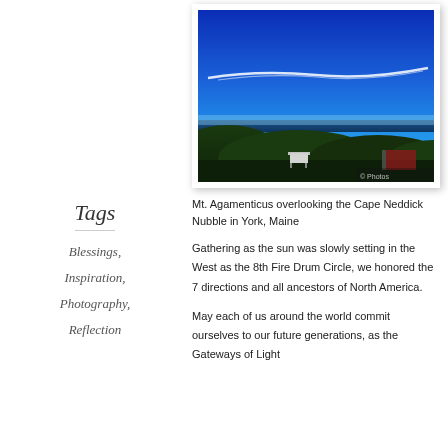Tags
Blessings,
Inspiration,
Photography,
Reflection
[Figure (photo): Aerial landscape view from Mt. Agamenticus overlooking the Cape Neddick Nubble in York, Maine. Bright blue sky with thin white cloud streak, green forested hills, and distant coastline/ocean.]
Mt. Agamenticus overlooking the Cape Neddick Nubble in York, Maine
Gathering as the sun was slowly setting in the West as the 8th Fire Drum Circle, we honored the 7 directions and all ancestors of North America.
May each of us around the world commit ourselves to our future generations, as the Gateways of Light